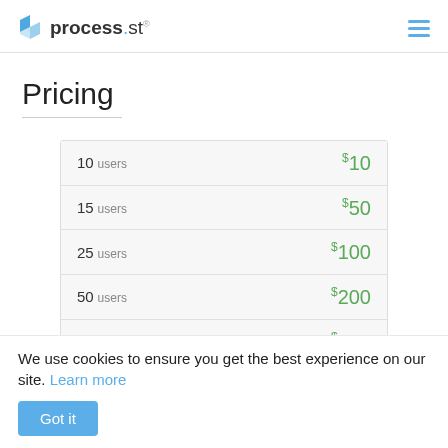process.st
Pricing
| Users | Price |
| --- | --- |
| 10 users | $10 |
| 15 users | $50 |
| 25 users | $100 |
| 50 users | $200 |
| 100 users | $300 |
We use cookies to ensure you get the best experience on our site. Learn more
Got it